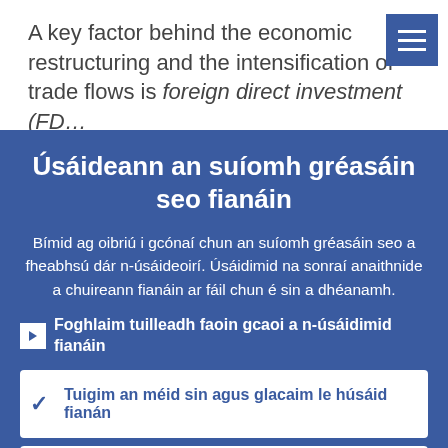A key factor behind the economic restructuring and the intensification of trade flows is foreign direct investment (FD…
Úsáideann an suíomh gréasáin seo fianáin
Bímid ag oibriú i gcónaí chun an suíomh gréasáin seo a fheabhsú dár n-úsáideoirí. Úsáidimid na sonraí anaithnide a chuireann fianáin ar fáil chun é sin a dhéanamh.
Foghlaim tuilleadh faoin gcaoi a n-úsáidimid fianáin
Tuigim an méid sin agus glacaim le húsáid fianán
Ní ghlacaim le húsáid fianán